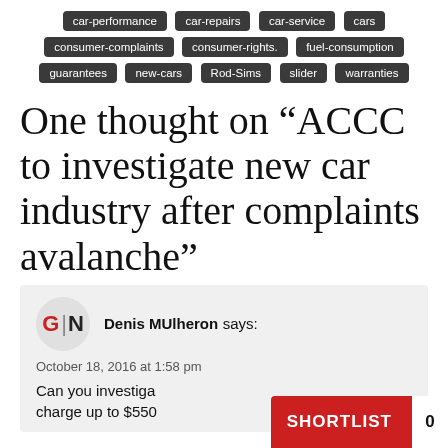car-performance
car-repairs
car-service
cars
consumer-complaints
consumer-rights.
fuel-consumption
guarantees
new-cars
Rod-Sims
slider
warranties
One thought on “ACCC to investigate new car industry after complaints avalanche”
Denis MUlheron says:
October 18, 2016 at 1:58 pm
Can you investiga... charge up to $550...